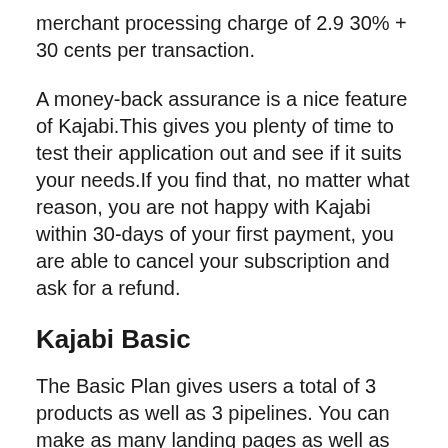merchant processing charge of 2.9 30% + 30 cents per transaction.
A money-back assurance is a nice feature of Kajabi.This gives you plenty of time to test their application out and see if it suits your needs.If you find that, no matter what reason, you are not happy with Kajabi within 30-days of your first payment, you are able to cancel your subscription and ask for a refund.
Kajabi Basic
The Basic Plan gives users a total of 3 products as well as 3 pipelines. You can make as many landing pages as well as